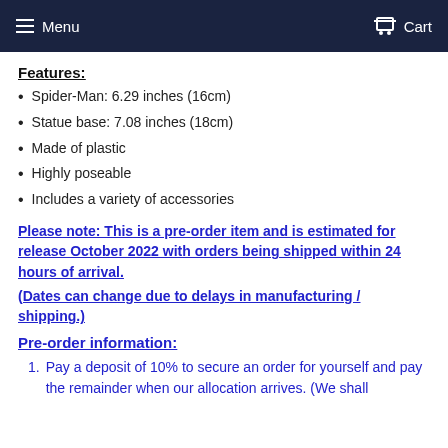Menu   Cart
Features:
Spider-Man: 6.29 inches (16cm)
Statue base: 7.08 inches (18cm)
Made of plastic
Highly poseable
Includes a variety of accessories
Please note: This is a pre-order item and is estimated for release October 2022 with orders being shipped within 24 hours of arrival.
(Dates can change due to delays in manufacturing / shipping.)
Pre-order information:
1. Pay a deposit of 10% to secure an order for yourself and pay the remainder when our allocation arrives. (We shall